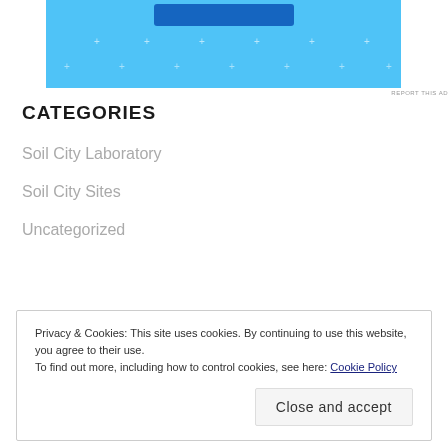[Figure (other): Blue advertisement banner with dark blue button at top and white plus/cross decorative dots pattern]
REPORT THIS AD
CATEGORIES
Soil City Laboratory
Soil City Sites
Uncategorized
Privacy & Cookies: This site uses cookies. By continuing to use this website, you agree to their use.
To find out more, including how to control cookies, see here: Cookie Policy
Close and accept